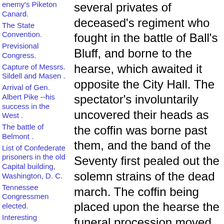enemy's Piketon Canard.
The State Convention.
Previsional Congress.
Capture of Messrs. Sildell and Masen .
Arrival of Gen. Albert Pike --his success in the West .
The battle of Belmont .
List of Confederate prisoners in the old Capital building, Washington, D. C.
Tennessee Congressmen elected.
Interesting
several privates of deceased's regiment who fought in the battle of Ball's Bluff, and borne to the hearse, which awaited it opposite the City Hall. The spectator's involuntarily uncovered their heads as the coffin was borne past them, and the band of the Seventy first pealed out the solemn strains of the dead march. The coffin being placed upon the hearse the funeral procession moved down Broadway to Battery place, down Battery place to West street, down West street to pier No. 3, where the coffin was transferred to the steamship Northern Light. Broadway was crowded during the progress of the procession, and the utmost silence was